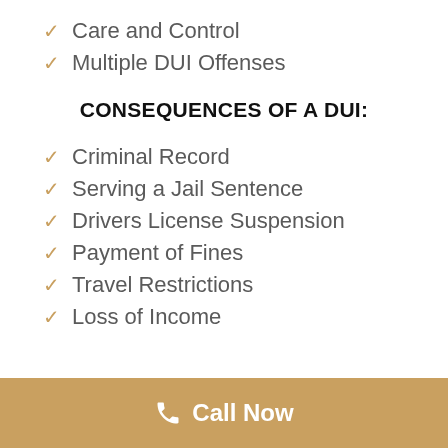Care and Control
Multiple DUI Offenses
CONSEQUENCES OF A DUI:
Criminal Record
Serving a Jail Sentence
Drivers License Suspension
Payment of Fines
Travel Restrictions
Loss of Income
Call Now